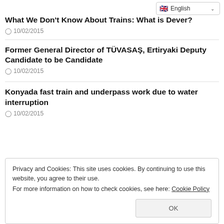English
What We Don't Know About Trains: What is Dever?
10/02/2015
Former General Director of TÜVASAŞ, Ertiryaki Deputy Candidate to be Candidate
10/02/2015
Konyada fast train and underpass work due to water interruption
10/02/2015
Privacy and Cookies: This site uses cookies. By continuing to use this website, you agree to their use.
For more information on how to check cookies, see here: Cookie Policy